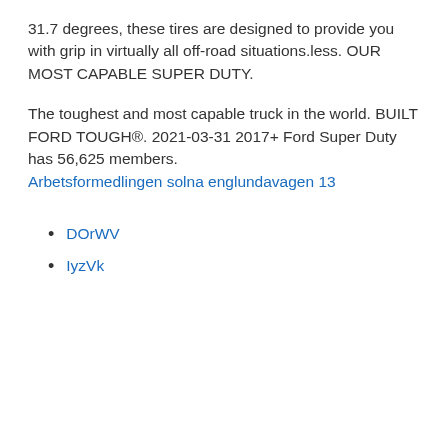31.7 degrees, these tires are designed to provide you with grip in virtually all off-road situations.less. OUR MOST CAPABLE SUPER DUTY.
The toughest and most capable truck in the world. BUILT FORD TOUGH®. 2021-03-31 2017+ Ford Super Duty has 56,625 members.
Arbetsformedlingen solna englundavagen 13
DOrWV
IyzVk